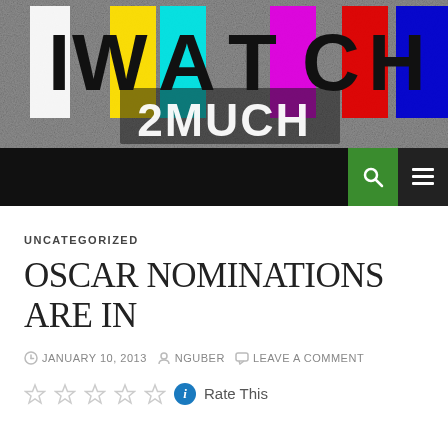[Figure (logo): I Watch 2 Much TV blog header banner with color bars and static noise background]
I WATCH 2MUCH
UNCATEGORIZED
OSCAR NOMINATIONS ARE IN
JANUARY 10, 2013  NGUBER  LEAVE A COMMENT
Rate This